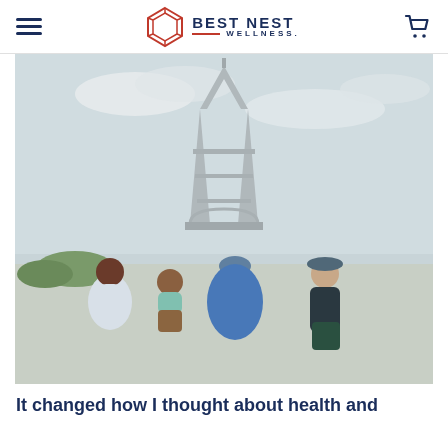Best Nest Wellness
[Figure (photo): Family of four (two children, mother wearing blue dress and head wrap, father in dark jacket and hat) sitting together in front of the Eiffel Tower in Paris on a cloudy day]
It changed how I thought about health and